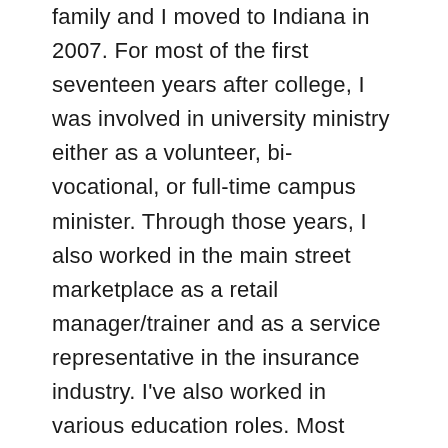family and I moved to Indiana in 2007. For most of the first seventeen years after college, I was involved in university ministry either as a volunteer, bi-vocational, or full-time campus minister. Through those years, I also worked in the main street marketplace as a retail manager/trainer and as a service representative in the insurance industry. I've also worked in various education roles. Most recently, I have been working on various projects addressing homelessness in Indianapolis and as team lead for Diakonos Community, a Communitas International missional initiative. Through this ministry, we seek to build missional communities in Indianapolis that serve and bring the life of Christ to those on the margins of society. Our strategy is to collaborate with community agencies that serve those in need and share Christ through meaningful relationships. I am blessed with a wonderful wife, three amazing daughters, and two sons.